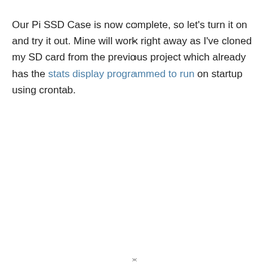Our Pi SSD Case is now complete, so let's turn it on and try it out. Mine will work right away as I've cloned my SD card from the previous project which already has the stats display programmed to run on startup using crontab.
×